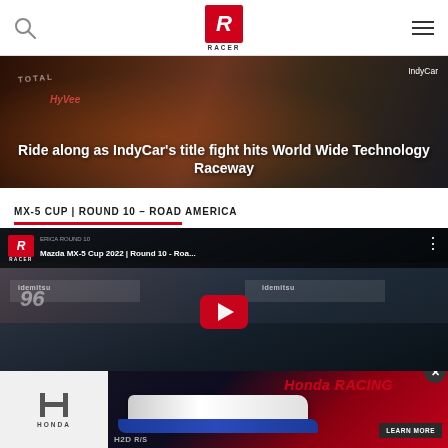RACER - navigation bar with search, RACER logo, and menu
[Figure (photo): Hero banner photo of IndyCar race car cockpit with driver, dark atmospheric background with TOTAL and HyVee sponsorship livery visible]
Ride along as IndyCar’s title fight hits World Wide Technology Raceway
MX-5 CUP | ROUND 10 – ROAD AMERICA
[Figure (screenshot): YouTube video thumbnail for Mazda MX-5 Cup 2022 Round 10 - Road America race with Racer channel logo and video title bar, showing racing cars with idemitsu sponsorship and YouTube play button]
[Figure (photo): Honda Racing advertisement banner showing a white Honda Civic car and blue IndyCar on a red/dark background with LEARN MORE button and H2D branding]